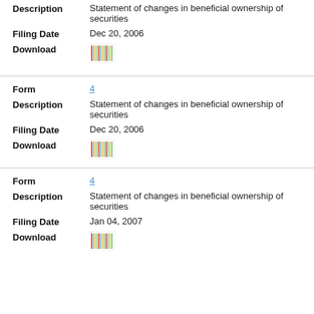Description: Statement of changes in beneficial ownership of securities
Filing Date: Dec 20, 2006
Download: [barcode icon]
Form: 4
Description: Statement of changes in beneficial ownership of securities
Filing Date: Dec 20, 2006
Download: [barcode icon]
Form: 4
Description: Statement of changes in beneficial ownership of securities
Filing Date: Jan 04, 2007
Download: [barcode icon]